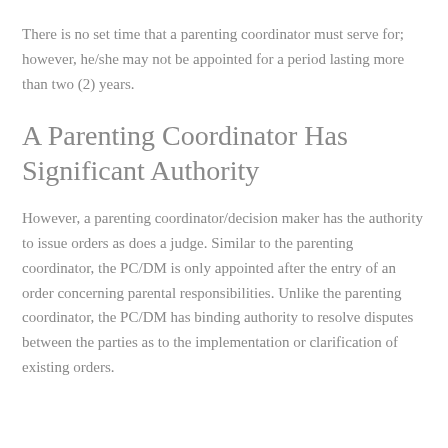There is no set time that a parenting coordinator must serve for; however, he/she may not be appointed for a period lasting more than two (2) years.
A Parenting Coordinator Has Significant Authority
However, a parenting coordinator/decision maker has the authority to issue orders as does a judge. Similar to the parenting coordinator, the PC/DM is only appointed after the entry of an order concerning parental responsibilities. Unlike the parenting coordinator, the PC/DM has binding authority to resolve disputes between the parties as to the implementation or clarification of existing orders.